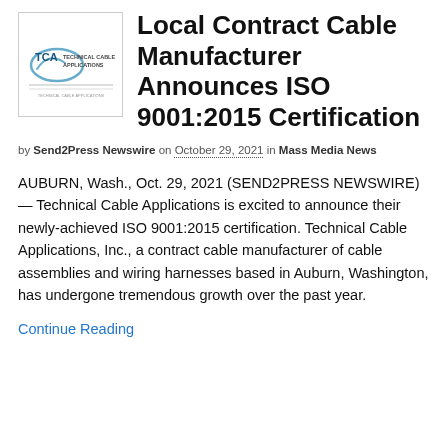[Figure (logo): TCA Technical Cable Applications logo inside a bordered box]
Local Contract Cable Manufacturer Announces ISO 9001:2015 Certification
by Send2Press Newswire on October 29, 2021 in Mass Media News
AUBURN, Wash., Oct. 29, 2021 (SEND2PRESS NEWSWIRE) — Technical Cable Applications is excited to announce their newly-achieved ISO 9001:2015 certification. Technical Cable Applications, Inc., a contract cable manufacturer of cable assemblies and wiring harnesses based in Auburn, Washington, has undergone tremendous growth over the past year.
Continue Reading